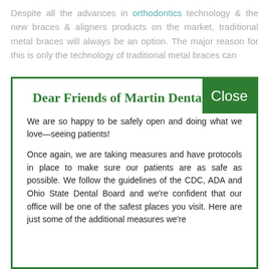Despite all the advances in orthodontics technology & the new braces & aligners products on the market, traditional metal braces will always be an option. The major reason for this is only the technology of traditional metal braces can
Dear Friends of Martin Dental Care
We are so happy to be safely open and doing what we love—seeing patients!
Once again, we are taking measures and have protocols in place to make sure our patients are as safe as possible. We follow the guidelines of the CDC, ADA and Ohio State Dental Board and we're confident that our office will be one of the safest places you visit. Here are just some of the additional measures we're